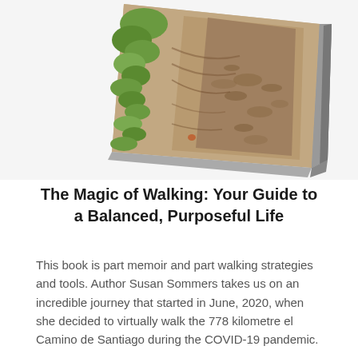[Figure (photo): A book with a cover showing a sandy path with shadows of foliage and green plants/leaves visible on the left side. The book is shown in a three-dimensional perspective view, slightly angled, showing the cover and spine.]
The Magic of Walking: Your Guide to a Balanced, Purposeful Life
This book is part memoir and part walking strategies and tools. Author Susan Sommers takes us on an incredible journey that started in June, 2020, when she decided to virtually walk the 778 kilometre el Camino de Santiago during the COVID-19 pandemic.